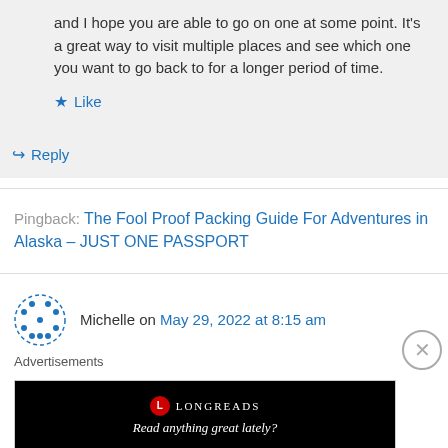and I hope you are able to go on one at some point. It's a great way to visit multiple places and see which one you want to go back to for a longer period of time.
★ Like
↳ Reply
Pingback: The Fool Proof Packing Guide For Adventures in Alaska – JUST ONE PASSPORT
Michelle on May 29, 2022 at 8:15 am
Advertisements
[Figure (other): Longreads advertisement banner with text 'Read anything great lately?']